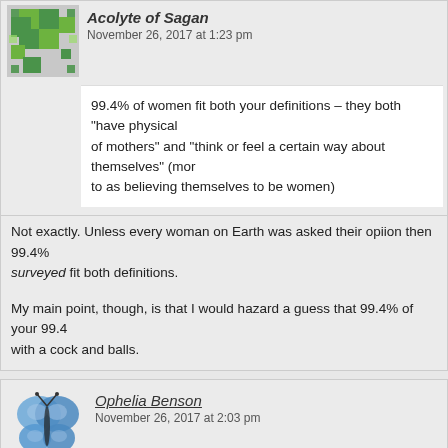Acolyte of Sagan
November 26, 2017 at 1:23 pm
99.4% of women fit both your definitions – they both "have physical... of mothers" and "think or feel a certain way about themselves" (mo... to as believing themselves to be women)
Not exactly. Unless every woman on Earth was asked their opiion then 99.4% ... surveyed fit both definitions.
My main point, though, is that I would hazard a guess that 99.4% of your 99... with a cock and balls.
Ophelia Benson
November 26, 2017 at 2:03 pm
Anyway, "believing oneself to be a woman" is not a definition of "w... point-of-absurdity description aka a tautology, but it's not a definition.
Holms